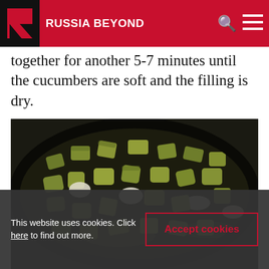RUSSIA BEYOND
together for another 5-7 minutes until the cucumbers are soft and the filling is dry.
[Figure (photo): A dark wok or frying pan filled with chopped diced pickled cucumbers and white onions being sautéed together, viewed from above.]
This website uses cookies. Click here to find out more.  Accept cookies